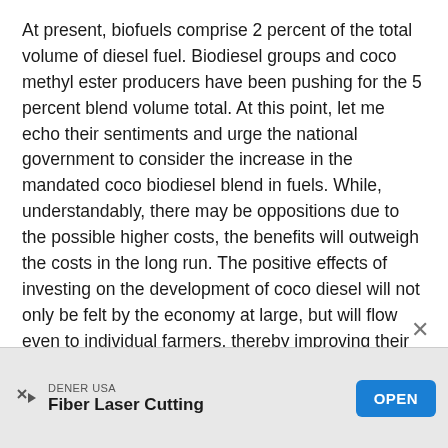At present, biofuels comprise 2 percent of the total volume of diesel fuel. Biodiesel groups and coco methyl ester producers have been pushing for the 5 percent blend volume total. At this point, let me echo their sentiments and urge the national government to consider the increase in the mandated coco biodiesel blend in fuels. While, understandably, there may be oppositions due to the possible higher costs, the benefits will outweigh the costs in the long run. The positive effects of investing on the development of coco diesel will not only be felt by the economy at large, but will flow even to individual farmers, thereby improving their living conditions.
[Figure (other): Advertisement banner: DENER USA - Fiber Laser Cutting with OPEN button]